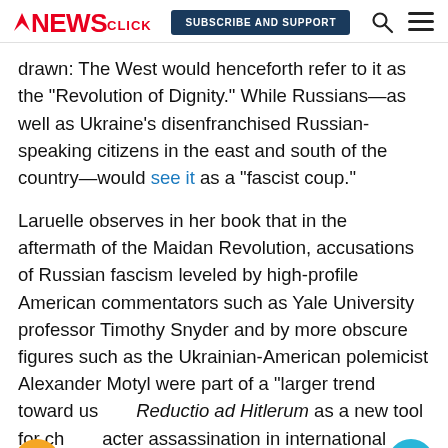NewsClick | SUBSCRIBE AND SUPPORT
drawn: The West would henceforth refer to it as the “Revolution of Dignity.” While Russians—as well as Ukraine’s disenfranchised Russian-speaking citizens in the east and south of the country—would see it as a “fascist coup.”
Laruelle observes in her book that in the aftermath of the Maidan Revolution, accusations of Russian fascism leveled by high-profile American commentators such as Yale University professor Timothy Snyder and by more obscure figures such as the Ukrainian-American polemicist Alexander Motyl were part of a “larger trend toward us… Reductio ad Hitlerum as a new tool for character assassination in international affairs.”